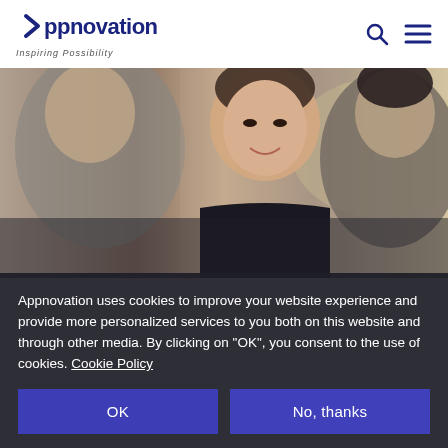Appnovation — Inspiring Possibility
[Figure (photo): Three business professionals in a meeting setting; a woman in the center is in focus smiling, flanked by a man on the left and a woman on the right, both slightly blurred.]
Appnovation uses cookies to improve your website experience and provide more personalized services to you both on this website and through other media. By clicking on 'OK', you consent to the use of cookies. Cookie Policy
OK
No, thanks